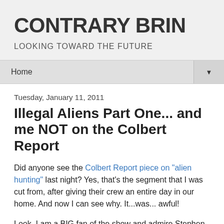CONTRARY BRIN
LOOKING TOWARD THE FUTURE
Home ▼
Tuesday, January 11, 2011
Illegal Aliens Part One... and me NOT on the Colbert Report
Did anyone see the Colbert Report piece on "alien hunting" last night? Yes, that's the segment that I was cut from, after giving their crew an entire day in our home.  And now I can see why.  It...was... awful!
Look, I am a BIG fan of the show and admire Stephen Colbert immensely. I understand the need to put humor first. It is - after all - Comedy Central.  I even expected to be edited into an object of... well... some ribbing and poking. (All